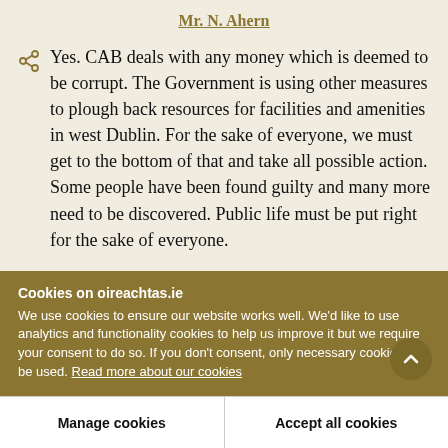Mr. N. Ahern
Yes. CAB deals with any money which is deemed to be corrupt. The Government is using other measures to plough back resources for facilities and amenities in west Dublin. For the sake of everyone, we must get to the bottom of that and take all possible action. Some people have been found guilty and many more need to be discovered. Public life must be put right for the sake of everyone.
Cookies on oireachtas.ie
We use cookies to ensure our website works well. We'd like to use analytics and functionality cookies to help us improve it but we require your consent to do so. If you don't consent, only necessary cookies will be used. Read more about our cookies
Manage cookies
Accept all cookies